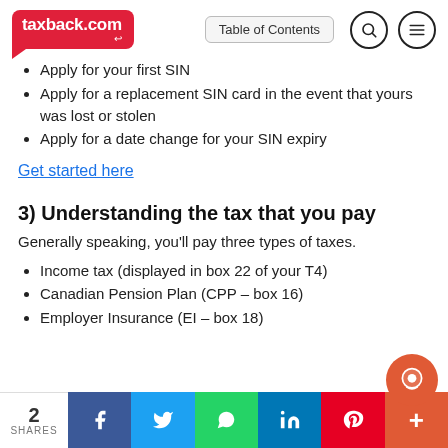taxback.com — Table of Contents
Apply for your first SIN
Apply for a replacement SIN card in the event that yours was lost or stolen
Apply for a date change for your SIN expiry
Get started here
3) Understanding the tax that you pay
Generally speaking, you'll pay three types of taxes.
Income tax (displayed in box 22 of your T4)
Canadian Pension Plan (CPP – box 16)
Employer Insurance (EI – box 18)
2 SHARES — Facebook, Twitter, WhatsApp, LinkedIn, Pinterest, +